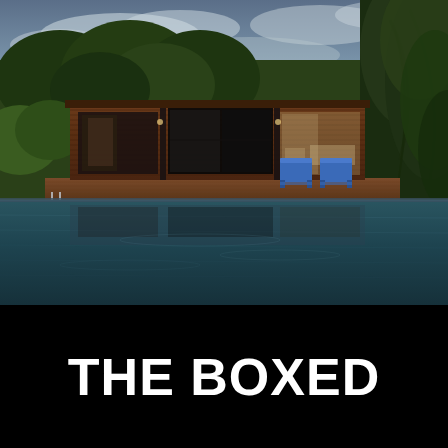[Figure (photo): Exterior photograph of a modern flat-roofed wood-clad pool house/pavilion with large glass sliding doors, two blue lounge chairs on a wooden deck beside a large rectangular swimming pool. Lush green trees in the background under a cloudy sky.]
THE BOXED